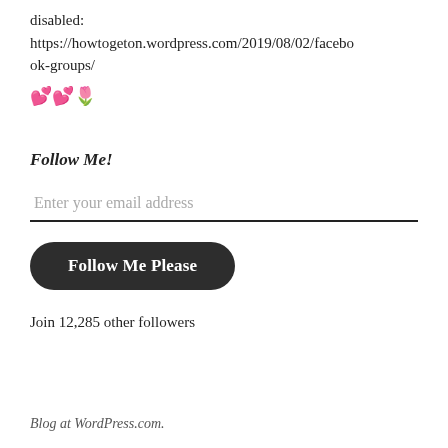disabled:
https://howtogeton.wordpress.com/2019/08/02/facebook-groups/
💕💕🌷
Follow Me!
Enter your email address
Follow Me Please
Join 12,285 other followers
Blog at WordPress.com.